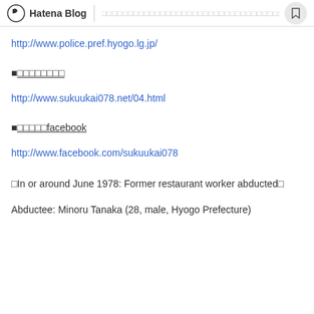Hatena Blog | □□□□□□□□□□□□□□□□□□□□□□□□□□□□□□□□□□□□□□□□
http://www.police.pref.hyogo.lg.jp/
■□□□□□□□□
http://www.sukuukai078.net/04.html
■□□□□□facebook
http://www.facebook.com/sukuukai078
□In or around June 1978: Former restaurant worker abducted□
Abductee: Minoru Tanaka (28, male, Hyogo Prefecture)